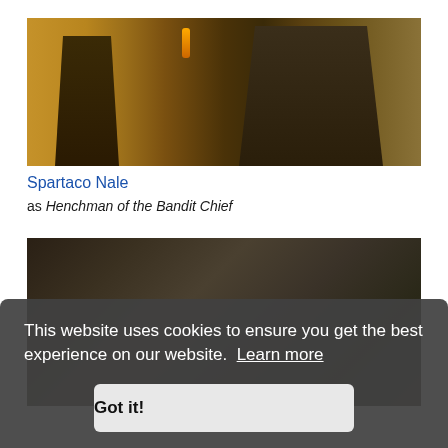[Figure (photo): Two actors in Middle Eastern period costumes in a stone chamber with torch light. Left figure wears white head wrap and dark robes, right figure wears dark blue head wrap and patterned robes.]
Spartaco Nale
as Henchman of the Bandit Chief
[Figure (photo): Partially visible film scene with dark indoor setting.]
This website uses cookies to ensure you get the best experience on our website. Learn more
Got it!